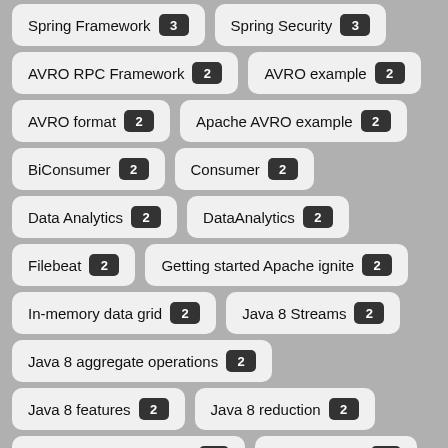Spring Framework 3
Spring Security 3
AVRO RPC Framework 2
AVRO example 2
AVRO format 2
Apache AVRO example 2
BiConsumer 2
Consumer 2
Data Analytics 2
DataAnalytics 2
Filebeat 2
Getting started Apache ignite 2
In-memory data grid 2
Java 8 Streams 2
Java 8 aggregate operations 2
Java 8 features 2
Java 8 reduction 2
Java 8 streams example 2
JdbcTemplate 2